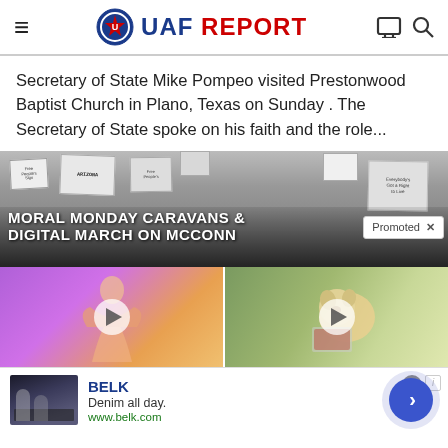UAF REPORT
Secretary of State Mike Pompeo visited Prestonwood Baptist Church in Plano, Texas on Sunday . The Secretary of State spoke on his faith and the role...
[Figure (photo): Black and white photo of protest signs with text overlay reading 'MORAL MONDAY CARAVANS & DIGITAL MARCH ON MCCONN' and a 'Promoted X' badge]
[Figure (photo): Two video thumbnail advertisements side by side - left shows an illustrated figure on purple background, right shows a golden retriever dog with raw meat]
[Figure (other): BELK advertisement banner with text 'Denim all day.' and 'www.belk.com', with a navigation scroll button]